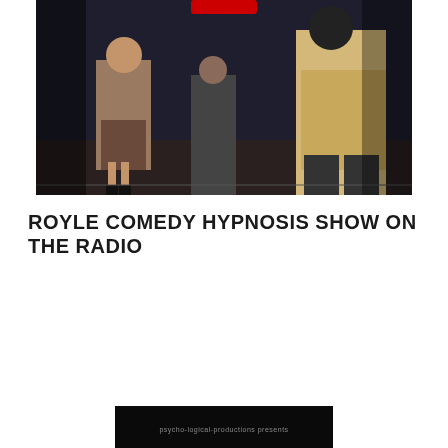[Figure (photo): Stage performance photo showing people on a dark stage with a red element visible at top, performers including a woman in a dress and a man in a light colored shirt/jacket]
ROYLE COMEDY HYPNOSIS SHOW ON THE RADIO
[Figure (photo): Dark promotional image with text reading 'psycho-logical-productions presents' at the bottom of the page]